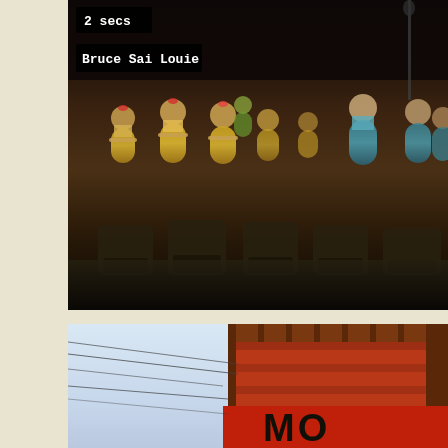[Figure (photo): A dark-toned photo showing rows of hula dancer figurines/dolls on what appears to be dashboard ornaments in yellow and teal/blue costumes, with an audience or theater seats visible in the background. Overlaid UI labels show '2 secs' and 'Bruce Sai Louie' in black boxes with white monospace text.]
[Figure (photo): A photo taken from a low angle looking up at a building with a red sign partially visible reading 'MO...' (likely 'MOSHI' or similar), with utility wires crossing in the foreground and a light blue sky background.]